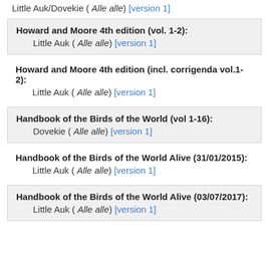Little Auk/Dovekie ( Alle alle) [version 1]
Howard and Moore 4th edition (vol. 1-2): Little Auk ( Alle alle) [version 1]
Howard and Moore 4th edition (incl. corrigenda vol.1-2): Little Auk ( Alle alle) [version 1]
Handbook of the Birds of the World (vol 1-16): Dovekie ( Alle alle) [version 1]
Handbook of the Birds of the World Alive (31/01/2015): Little Auk ( Alle alle) [version 1]
Handbook of the Birds of the World Alive (03/07/2017): Little Auk ( Alle alle) [version 1]